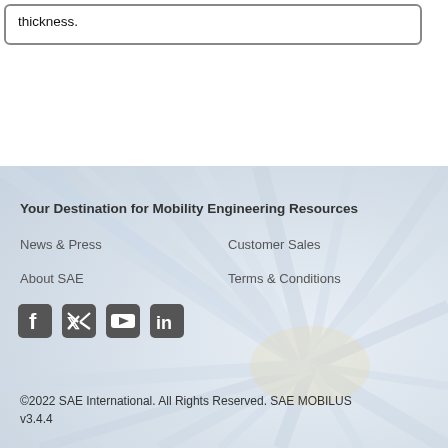thickness.
[Figure (illustration): SAE website footer background with radial light rays emanating from center-right, light blue/grey gradient]
Your Destination for Mobility Engineering Resources
News & Press
Customer Sales
About SAE
Terms & Conditions
[Figure (illustration): Social media icons: Facebook, Twitter, YouTube, LinkedIn]
©2022 SAE International. All Rights Reserved. SAE MOBILUS v3.4.4